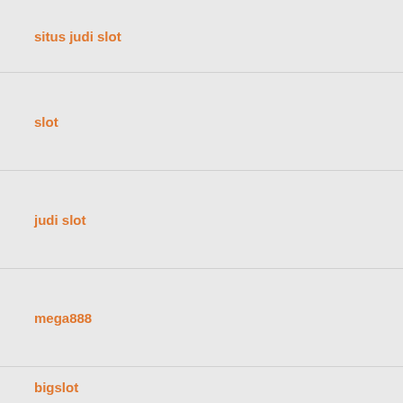situs judi slot
slot
judi slot
mega888
bigslot